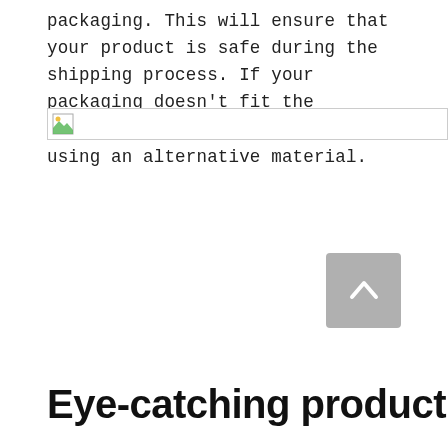packaging. This will ensure that your product is safe during the shipping process. If your packaging doesn't fit the standards, you should consider using an alternative material.
[Figure (other): Broken image placeholder icon with a horizontal rule/bar]
[Figure (other): Back to top button with upward chevron arrow icon]
Eye-catching product